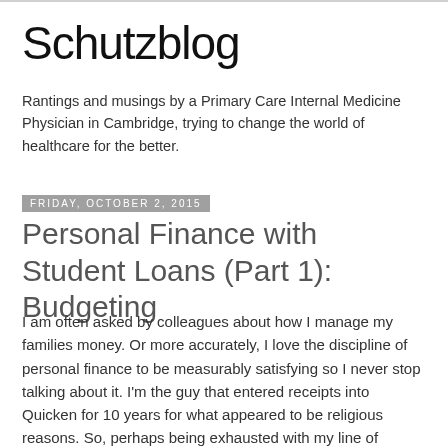Schutzblog
Rantings and musings by a Primary Care Internal Medicine Physician in Cambridge, trying to change the world of healthcare for the better.
Friday, October 2, 2015
Personal Finance with Student Loans (Part 1): Budgeting
I am often asked by colleagues about how I manage my families money. Or more accurately, I love the discipline of personal finance to be measurably satisfying so I never stop talking about it. I'm the guy that entered receipts into Quicken for 10 years for what appeared to be religious reasons. So, perhaps being exhausted with my line of conversation, (rarely) interested people break down and ask me about it.